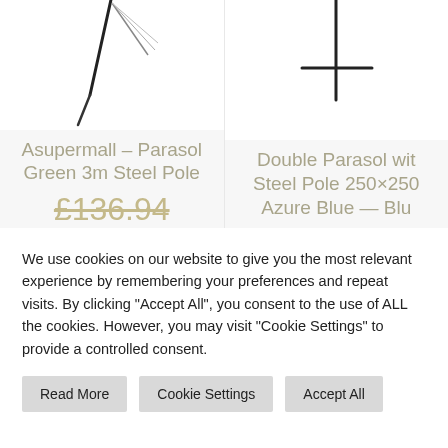[Figure (photo): Partial view of parasol/umbrella product image (left product) — dark pole visible at top center]
[Figure (photo): Partial view of double parasol product image (right product) — dark cross/pole structure visible at top center]
Asupermall – Parasol Green 3m Steel Pole
Double Parasol wit Steel Pole 250×250 Azure Blue — Blu
£136.94
We use cookies on our website to give you the most relevant experience by remembering your preferences and repeat visits. By clicking "Accept All", you consent to the use of ALL the cookies. However, you may visit "Cookie Settings" to provide a controlled consent.
Read More
Cookie Settings
Accept All